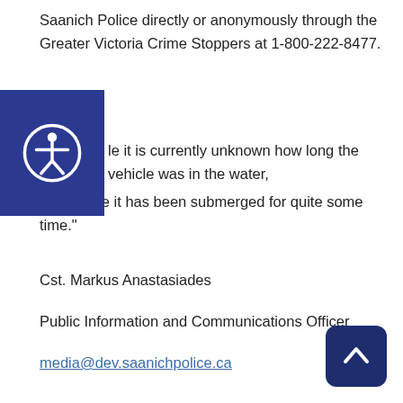Saanich Police directly or anonymously through the Greater Victoria Crime Stoppers at 1-800-222-8477.
[Figure (logo): Accessibility icon: white figure in circle on dark blue square background]
le it is currently unknown how long the vehicle was in the water, we believe it has been submerged for quite some time."
Cst. Markus Anastasiades
Public Information and Communications Officer
media@dev.saanichpolice.ca
[Figure (other): Back to top button: dark navy rounded square with upward chevron arrow]